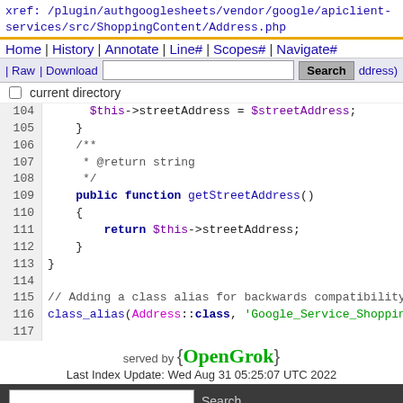xref: /plugin/authgooglesheets/vendor/google/apiclient-services/src/ShoppingContent/Address.php
Home | History | Annotate | Line# | Scopes# | Navigate#
| Raw | Download | Search | address)
current directory
104    $this->streetAddress = $streetAddress;
105    }
106    /**
107     * @return string
108     */
109    public function getStreetAddress()
110    {
111        return $this->streetAddress;
112    }
113 }
114
115 // Adding a class alias for backwards compatibility
116 class_alias(Address::class, 'Google_Service_Shopping
117
served by {OpenGrok}
Last Index Update: Wed Aug 31 05:25:07 UTC 2022
Search
Download   Wiki   Forum   IRC   Bugs   Translate
Git   XRef   Code Search